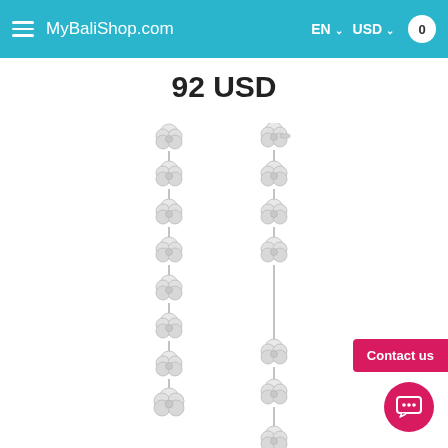MyBaliShop.com  EN  USD  0
92 USD
[Figure (photo): Two long dangle earrings made of silver four-leaf clover/flower charms linked in a chain, shown side by side. One earring shows the front view with stud backing visible, the other shows a side angle. The earrings have multiple flower-shaped silver charms hanging from a small chain.]
Contact us